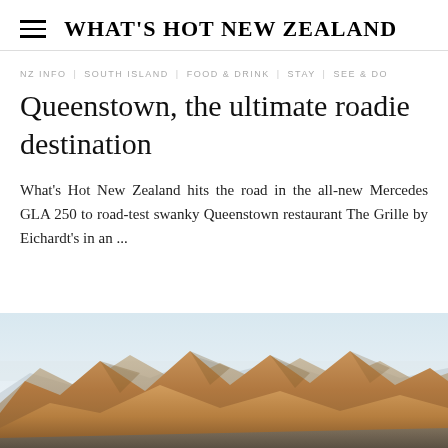WHAT'S HOT NEW ZEALAND
NZ INFO | SOUTH ISLAND | FOOD & DRINK | STAY | SEE & DO
Queenstown, the ultimate roadie destination
What's Hot New Zealand hits the road in the all-new Mercedes GLA 250 to road-test swanky Queenstown restaurant The Grille by Eichardt's in an ...
[Figure (photo): Mountain landscape with golden rocky peaks under a pale sky, likely Queenstown New Zealand area]